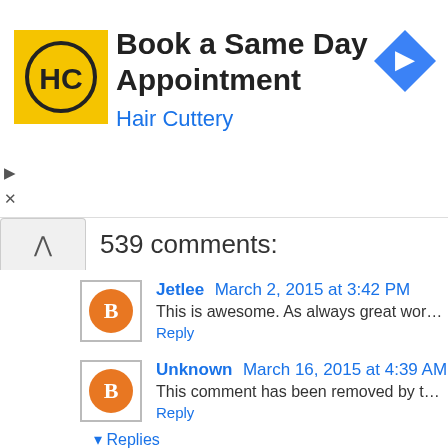[Figure (other): Hair Cuttery advertisement banner: yellow square logo with HC initials, text 'Book a Same Day Appointment' and 'Hair Cuttery' in blue, blue diamond navigation icon on right, play and close controls on left]
539 comments:
Jetlee  March 2, 2015 at 3:42 PM
This is awesome. As always great work Senth
Reply
Unknown  March 16, 2015 at 4:39 AM
This comment has been removed by the auth
Reply
▾ Replies
Angular-2  September 25, 2016 at 9:3